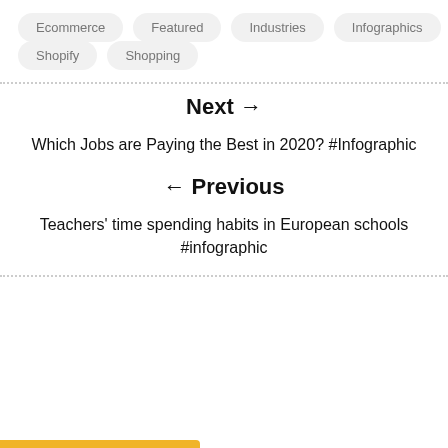Ecommerce
Featured
Industries
Infographics
Shopify
Shopping
Next →
Which Jobs are Paying the Best in 2020? #Infographic
← Previous
Teachers' time spending habits in European schools #infographic